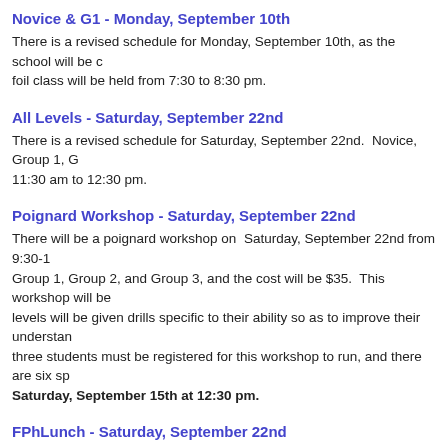Novice & G1 - Monday, September 10th
There is a revised schedule for Monday, September 10th, as the school will be ... foil class will be held from 7:30 to 8:30 pm.
All Levels - Saturday, September 22nd
There is a revised schedule for Saturday, September 22nd.  Novice, Group 1, G... 11:30 am to 12:30 pm.
Poignard Workshop - Saturday, September 22nd
There will be a poignard workshop on  Saturday, September 22nd from 9:30-1... Group 1, Group 2, and Group 3, and the cost will be $35.  This workshop will be... levels will be given drills specific to their ability so as to improve their understan... three students must be registered for this workshop to run, and there are six sp... Saturday, September 15th at 12:30 pm.
FPhLunch - Saturday, September 22nd
We will be holding a FPhLunch on Saturday, September 22nd from 12:30-4:00... and Group 3, and the cost is $25.  The topic will be "Fencing and Travelling": w... training trips are an invaluable to becoming a well-rounded fencer; we will als...